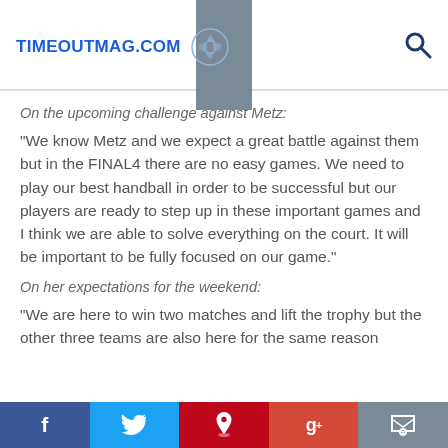TIMEOUTMAG.COM
On the upcoming challenge against Metz:
"We know Metz and we expect a great battle against them but in the FINAL4 there are no easy games. We need to play our best handball in order to be successful but our players are ready to step up in these important games and I think we are able to solve everything on the court. It will be important to be fully focused on our game."
On her expectations for the weekend:
"We are here to win two matches and lift the trophy but the other three teams are also here for the same reason
f  [Twitter]  [Pinterest]  g+  [Comment]